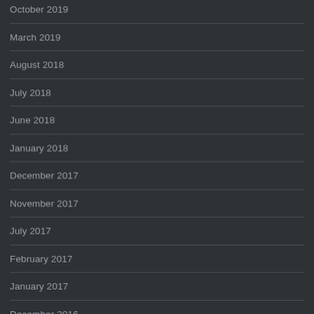October 2019
March 2019
August 2018
July 2018
June 2018
January 2018
December 2017
November 2017
July 2017
February 2017
January 2017
December 2016